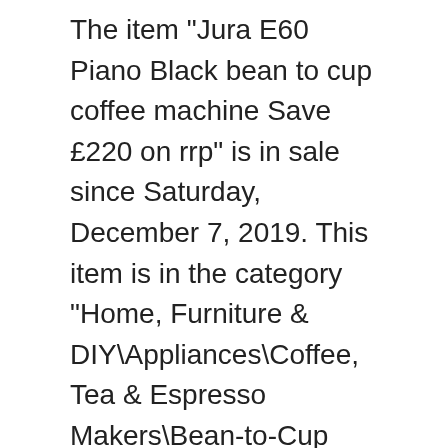The item "Jura E60 Piano Black bean to cup coffee machine Save £220 on rrp" is in sale since Saturday, December 7, 2019. This item is in the category "Home, Furniture & DIY\Appliances\Coffee, Tea & Espresso Makers\Bean-to-Cup Coffee Machines". The seller is "gott-it-all" and is located in LEICESTER, Leicestershire. This item can be shipped to United Kingdom, Austria, Belgium, Bulgaria, Croatia, Cyprus, Czech republic, Denmark, Estonia, Finland, France, Germany, Greece, Hungary, Ireland, Italy, Latvia, Lithuania, Luxembourg, Malta, Netherlands, Poland, Portugal, Romania, Slovakia, Slovenia, Spain, Sweden, Australia, United States, Bahrain, Canada, Brazil, Japan, New Zealand, China, Israel, Hong Kong, Norway, Indonesia, Mexico, Singapore, South Korea, Switzerland, Taiwan, Thailand, Bangladesh, Bermuda, Bolivia, Barbados, Brunei darussalam, Cayman islands, Ecuador, Egypt, Guernsey, Gibraltar, Guadeloupe, French guiana, Iceland, Jersey,